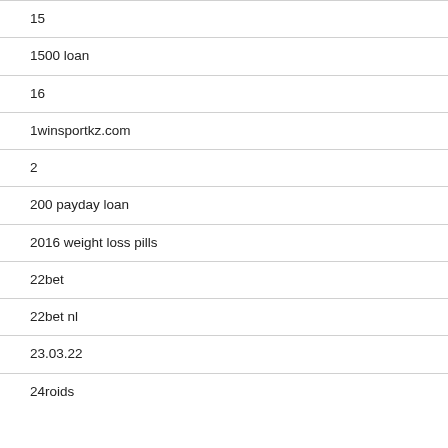15
1500 loan
16
1winsportkz.com
2
200 payday loan
2016 weight loss pills
22bet
22bet nl
23.03.22
24roids